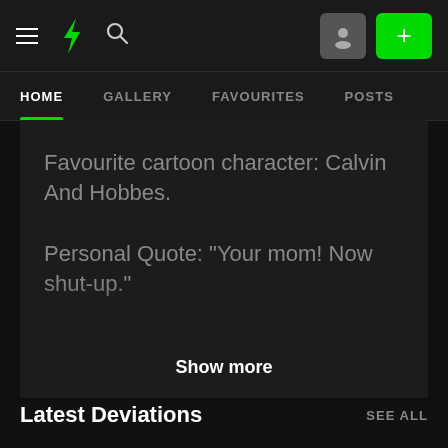[Figure (screenshot): DeviantArt mobile app top navigation bar with hamburger menu, DeviantArt logo (green lightning bolt), search icon, user profile button, and green plus button]
HOME   GALLERY   FAVOURITES   POSTS
Favourite cartoon character: Calvin And Hobbes.
Personal Quote: "Your mom! Now shut-up."
Show more
Latest Deviations
SEE ALL